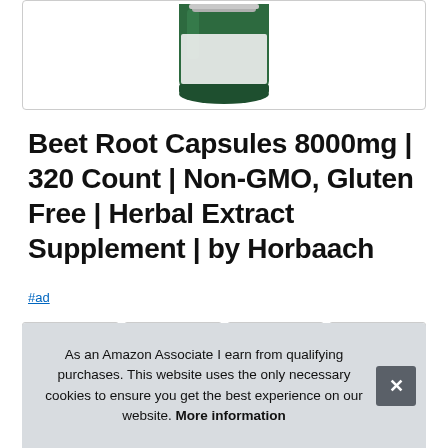[Figure (photo): Green supplement bottle partially visible at top of page, cropped showing bottom portion of bottle against white background]
Beet Root Capsules 8000mg | 320 Count | Non-GMO, Gluten Free | Herbal Extract Supplement | by Horbaach
#ad
[Figure (photo): Row of four product thumbnail images showing supplement bottle and product packaging]
As an Amazon Associate I earn from qualifying purchases. This website uses the only necessary cookies to ensure you get the best experience on our website. More information